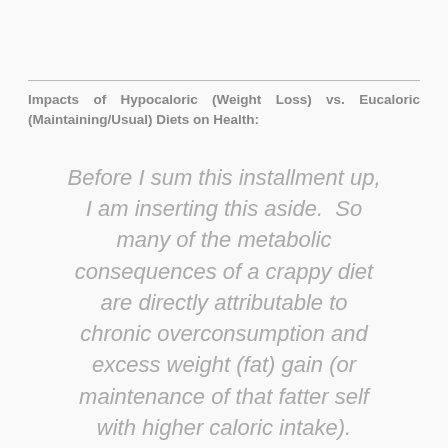Impacts of Hypocaloric (Weight Loss) vs. Eucaloric (Maintaining/Usual) Diets on Health:
Before I sum this installment up, I am inserting this aside.  So many of the metabolic consequences of a crappy diet are directly attributable to chronic overconsumption and excess weight (fat) gain (or maintenance of that fatter self with higher caloric intake).